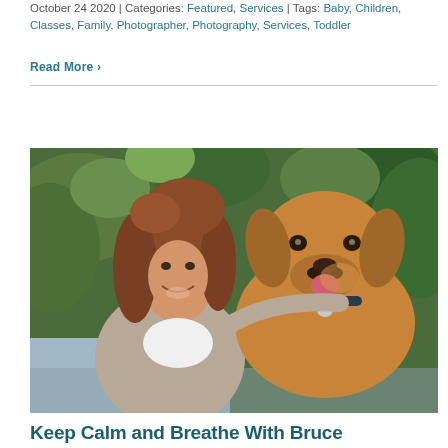October 24 2020 | Categories: Featured, Services | Tags: Baby, Children, Classes, Family, Photographer, Photography, Services, Toddler
Read More ›
[Figure (photo): A smiling woman with reddish-brown hair hugging a golden/brown Labrador dog outdoors with green foliage in the background]
Keep Calm and Breathe With Bruce